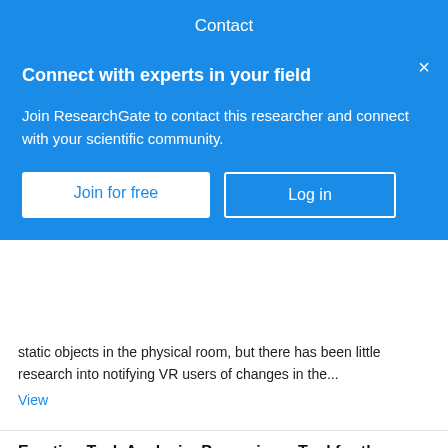Contact
Connect with experts in your field
Join ResearchGate to contact this researcher and connect with your scientific community.
Join for free
Log in
static objects in the physical room, but there has been little research into notifying VR users of changes in the...
View
Emotion Task Analysis: Proposing a Tool for the Assessment of Emotional Components in a Task
Article
Dec 2020
Aaron Crowson · Michael Wilkinson · Richard B. Wagner · [...] · Doug Gillan